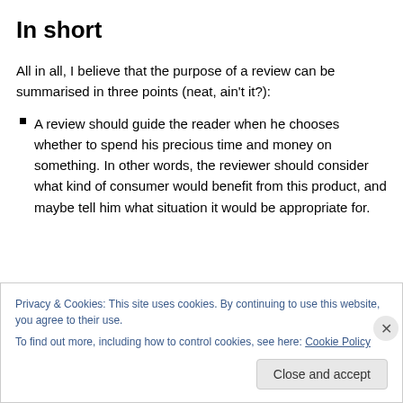In short
All in all, I believe that the purpose of a review can be summarised in three points (neat, ain't it?):
A review should guide the reader when he chooses whether to spend his precious time and money on something. In other words, the reviewer should consider what kind of consumer would benefit from this product, and maybe tell him what situation it would be appropriate for.
Privacy & Cookies: This site uses cookies. By continuing to use this website, you agree to their use.
To find out more, including how to control cookies, see here: Cookie Policy